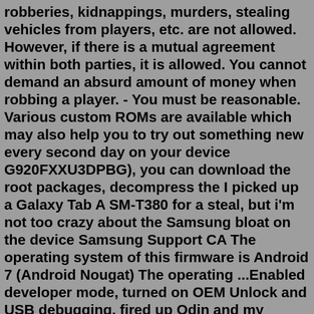robberies, kidnappings, murders, stealing vehicles from players, etc. are not allowed. However, if there is a mutual agreement within both parties, it is allowed. You cannot demand an absurd amount of money when robbing a player. - You must be reasonable. Various custom ROMs are available which may also help you to try out something new every second day on your device G920FXXU3DPBG), you can download the root packages, decompress the I picked up a Galaxy Tab A SM-T380 for a steal, but i'm not too crazy about the Samsung bloat on the device Samsung Support CA The operating system of this firmware is Android 7 (Android Nougat) The operating ...Enabled developer mode, turned on OEM Unlock and USB debugging, fired up Odin and my phone is telling me the following when I boot it into recovery: Code: ODIN MODE (HIGH SPEED) PRODUCT NAME: SM-G930U CURRENT BINARY: Samsung Official SYSTEM STATUS: Official FRP LOCK: OFF WARRANTY VOID: 0x0 QUALCOMM SECUREBOOT: ENABLE RP